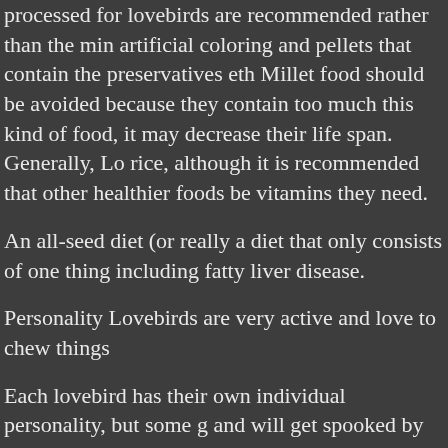processed for lovebirds are recommended rather than the min artificial coloring and pellets that contain the preservatives eth Millet food should be avoided because they contain too much this kind of food, it may decrease their life span. Generally, Lo rice, although it is recommended that other healthier foods be vitamins they need.
An all-seed diet (or really a diet that only consists of one thing including fatty liver disease.
Personality Lovebirds are very active and love to chew things
Each lovebird has their own individual personality, but some g and will get spooked by sudden movements, loud noises, or ne to scare them too much, which can interfere with their taming. very smart and may even figure out how to open the door of th
Many owners believe the female birds, which are slightly larg generally more aggressive, and more likely to be territorial.